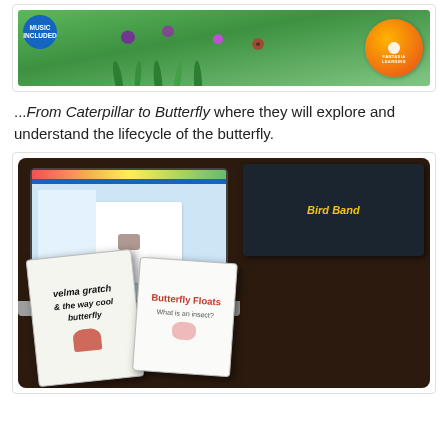[Figure (photo): Top portion of a book or product cover with green garden/grass background, a blue circular 'Music Included' badge on the left, and an orange CD disc on the right with a publisher logo.]
...From Caterpillar to Butterfly where they will explore and understand the lifecycle of the butterfly.
[Figure (photo): A dark-toned photo showing a laptop with a butterfly webpage open, surrounded by several children's books: 'velma gratch & the way cool butterfly', 'Butterfly Floats', and 'Bird Band' visible in the background.]